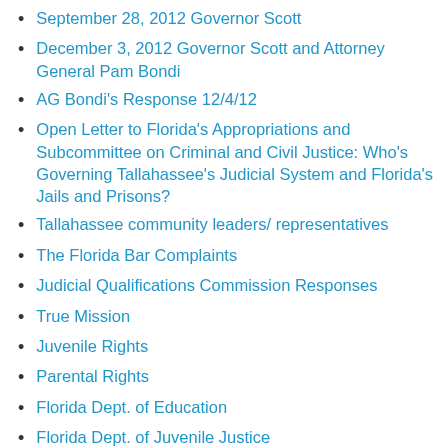September 28, 2012 Governor Scott
December 3, 2012 Governor Scott and Attorney General Pam Bondi
AG Bondi's Response 12/4/12
Open Letter to Florida's Appropriations and Subcommittee on Criminal and Civil Justice: Who's Governing Tallahassee's Judicial System and Florida's Jails and Prisons?
Tallahassee community leaders/ representatives
The Florida Bar Complaints
Judicial Qualifications Commission Responses
True Mission
Juvenile Rights
Parental Rights
Florida Dept. of Education
Florida Dept. of Juvenile Justice